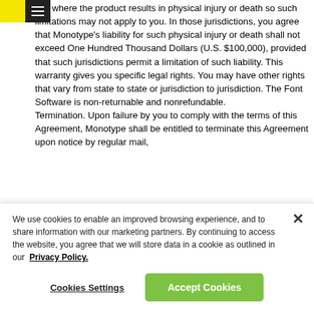[Monotype navigation header with yellow logo box and hamburger menu]
ties where the product results in physical injury or death so such limitations may not apply to you. In those jurisdictions, you agree that Monotype's liability for such physical injury or death shall not exceed One Hundred Thousand Dollars (U.S. $100,000), provided that such jurisdictions permit a limitation of such liability. This warranty gives you specific legal rights. You may have other rights that vary from state to state or jurisdiction to jurisdiction. The Font Software is non-returnable and nonrefundable. Termination. Upon failure by you to comply with the terms of this Agreement, Monotype shall be entitled to terminate this Agreement upon notice by regular mail,
We use cookies to enable an improved browsing experience, and to share information with our marketing partners. By continuing to access the website, you agree that we will store data in a cookie as outlined in our Privacy Policy.
Cookies Settings   Accept Cookies